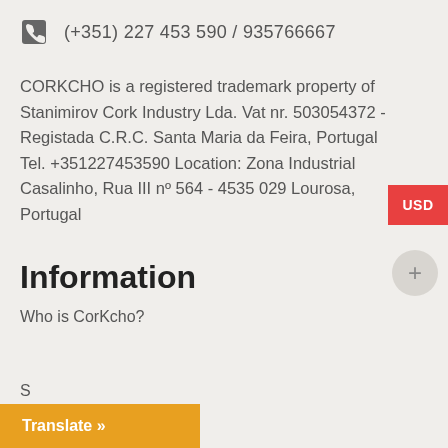(+351) 227 453 590 / 935766667
CORKCHO is a registered trademark property of Stanimirov Cork Industry Lda. Vat nr. 503054372 - Registada C.R.C. Santa Maria da Feira, Portugal Tel. +351227453590 Location: Zona Industrial Casalinho, Rua III nº 564 - 4535 029 Lourosa, Portugal
Information
Who is CorKcho?
Translate »